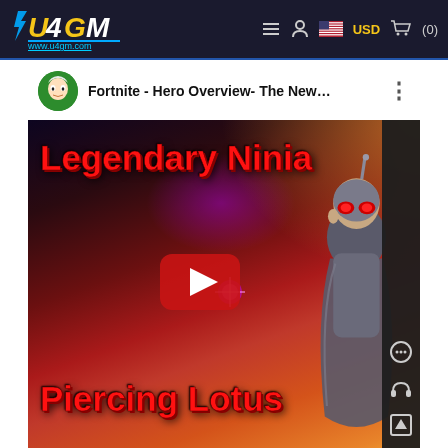U4GM www.u4gm.com — USD (0)
[Figure (screenshot): YouTube video thumbnail for 'Fortnite - Hero Overview- The New...' showing a Legendary Ninja Piercing Lotus character with a red play button overlay. The channel avatar is a green-circle anime girl icon.]